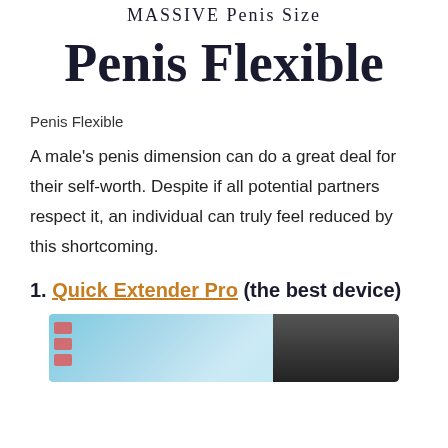MASSIVE Penis Size
Penis Flexible
Penis Flexible
A male's penis dimension can do a great deal for their self-worth. Despite if all potential partners respect it, an individual can truly feel reduced by this shortcoming.
1. Quick Extender Pro (the best device)
[Figure (photo): Product image showing Quick Extender Pro device with teal/blue background and dark device on right side]